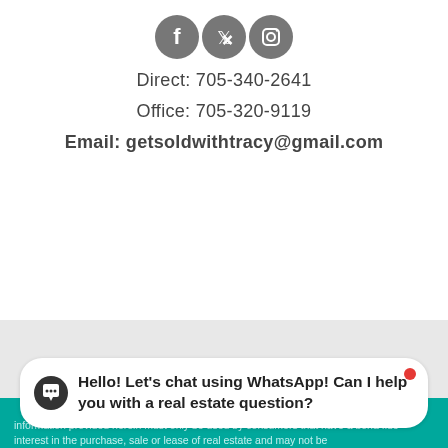[Figure (illustration): Three social media icons (Facebook, Twitter, Instagram) in dark grey circles]
Direct: 705-340-2641
Office: 705-320-9119
Email: getsoldwithtracy@gmail.com
[Figure (logo): Royale Town & Country Realty Inc. Brokerage logo with crown and decorative heraldic design]
[Figure (illustration): Three social media icons (Facebook, Twitter, Instagram) in dark grey circles on right side]
Hello! Let's chat using WhatsApp! Can I help you with a real estate question?
information provided herein must only be used by consumers that have a bona fide interest in the purchase, sale or lease of real estate and may not be